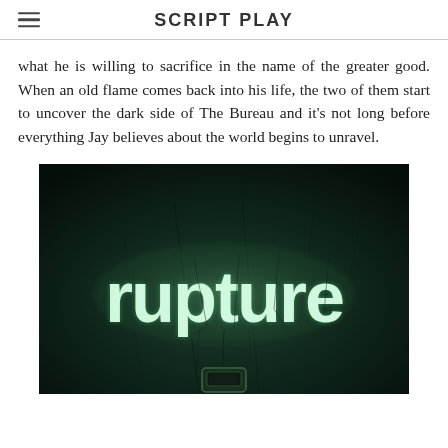SCRIPT PLAY
what he is willing to sacrifice in the name of the greater good. When an old flame comes back into his life, the two of them start to uncover the dark side of The Bureau and it's not long before everything Jay believes about the world begins to unravel.
[Figure (illustration): Movie/show poster for 'rupture' — large glowing cracked green-white text spelling 'rupture' on a dark green textured background with grunge/cracks, a small device visible at the bottom center.]